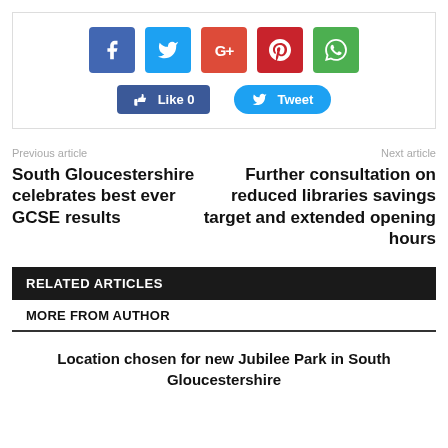[Figure (infographic): Social share widget with Facebook, Twitter, Google+, Pinterest, WhatsApp icon buttons, and Like 0 and Tweet action buttons]
Previous article
South Gloucestershire celebrates best ever GCSE results
Next article
Further consultation on reduced libraries savings target and extended opening hours
RELATED ARTICLES
MORE FROM AUTHOR
Location chosen for new Jubilee Park in South Gloucestershire